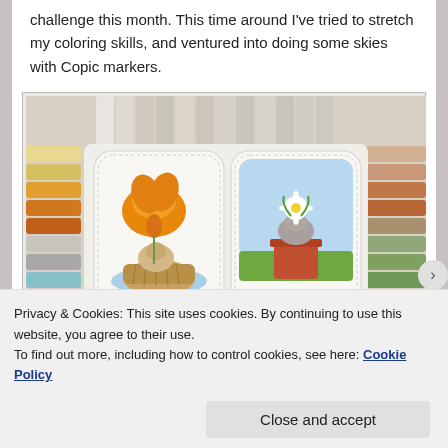challenge this month. This time around I've tried to stretch my coloring skills, and ventured into doing some skies with Copic markers.
[Figure (photo): Photo of two handmade greeting cards with 'Thinking of You' script, surrounded by Copic markers. Left card shows a small animal in a basket under a large orange flower. Right card shows a small creature in a red flower pot with a daisy on its head and blue sky background.]
Privacy & Cookies: This site uses cookies. By continuing to use this website, you agree to their use.
To find out more, including how to control cookies, see here: Cookie Policy
Close and accept